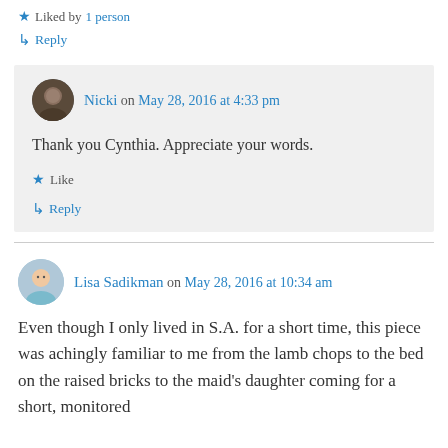★ Liked by 1 person
↳ Reply
Nicki on May 28, 2016 at 4:33 pm
Thank you Cynthia. Appreciate your words.
★ Like
↳ Reply
Lisa Sadikman on May 28, 2016 at 10:34 am
Even though I only lived in S.A. for a short time, this piece was achingly familiar to me from the lamb chops to the bed on the raised bricks to the maid's daughter coming for a short, monitored